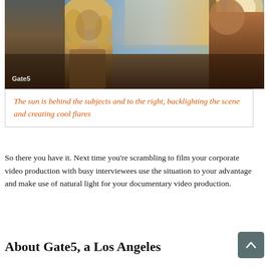[Figure (photo): A woman with long blonde hair sits indoors near a large window with ocean/sky visible behind her. Another person is partially visible on the right. Warm backlit sunlight creates lens flares. A 'Gate5' watermark is visible in the bottom-left corner of the photo.]
The sun is behind the subjects and to the right, backlighting the scene and creating cool flares
So there you have it. Next time you’re scrambling to film your corporate video production with busy interviewees use the situation to your advantage and make use of natural light for your documentary video production.
About Gate5, a Los Angeles